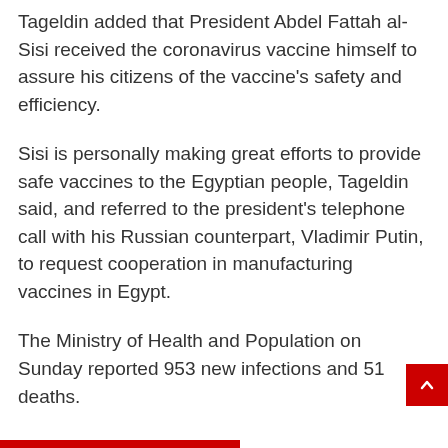Tageldin added that President Abdel Fattah al-Sisi received the coronavirus vaccine himself to assure his citizens of the vaccine's safety and efficiency.
Sisi is personally making great efforts to provide safe vaccines to the Egyptian people, Tageldin said, and referred to the president's telephone call with his Russian counterpart, Vladimir Putin, to request cooperation in manufacturing vaccines in Egypt.
The Ministry of Health and Population on Sunday reported 953 new infections and 51 deaths.